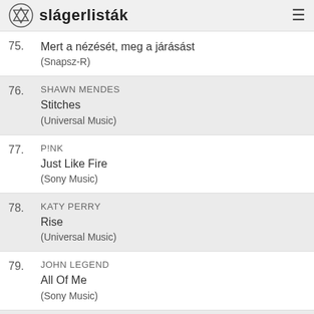slágerlisták
75. Mert a nézését, meg a járásást (Snapsz-R)
76. SHAWN MENDES Stitches (Universal Music)
77. P!NK Just Like Fire (Sony Music)
78. KATY PERRY Rise (Universal Music)
79. JOHN LEGEND All Of Me (Sony Music)